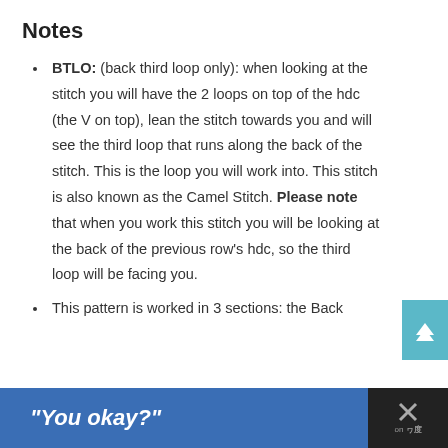Notes
BTLO: (back third loop only): when looking at the stitch you will have the 2 loops on top of the hdc (the V on top), lean the stitch towards you and will see the third loop that runs along the back of the stitch. This is the loop you will work into. This stitch is also known as the Camel Stitch. Please note that when you work this stitch you will be looking at the back of the previous row's hdc, so the third loop will be facing you.
This pattern is worked in 3 sections: the Back